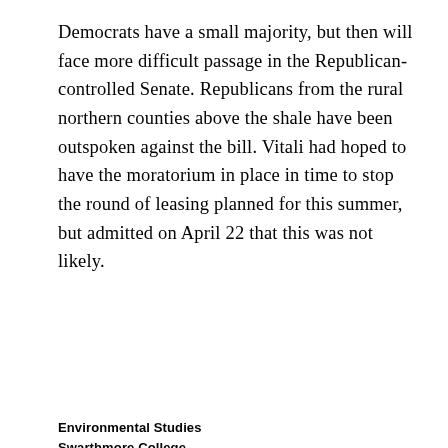Democrats have a small majority, but then will face more difficult passage in the Republican-controlled Senate. Republicans from the rural northern counties above the shale have been outspoken against the bill. Vitali had hoped to have the moratorium in place in time to stop the round of leasing planned for this summer, but admitted on April 22 that this was not likely.
Environmental Studies
Swarthmore College
500 College Avenue
Swarthmore, PA 19081
Phone: 610-328-8000
send an email to webeditor